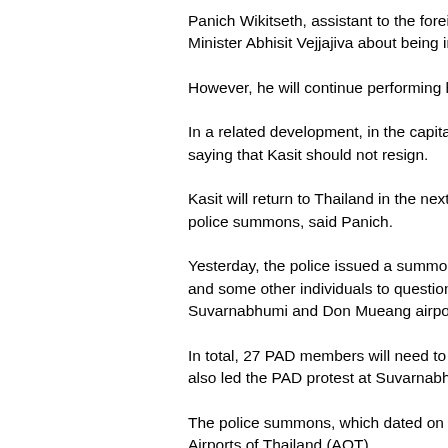Panich Wikitseth, assistant to the foreign minister, said Kasit had already discussed with Prime Minister Abhisit Vejjajiva about being in charge, a Thai language news agency, Khao Sod, reported.
However, he will continue performing his duties until a new minister is said.
In a related development, in the capital city, some PAD members backed the foreign minister's stance, saying that Kasit should not resign.
Kasit will return to Thailand in the next few days and will report to police on July 16 as stipulated in the police summons, said Panich.
Yesterday, the police issued a summons to members of the People's Alliance for Democracy (PAD) and some other individuals to question them on alleged involvement in the occupation of Suvarnabhumi and Don Mueang airports.
In total, 27 PAD members will need to report to the police. Among these summonsed is Kasit, who also led the PAD protest at Suvarnabhumi.
The police summons, which dated on July 14, was based on a criminal complaint, having filed by the Airports of Thailand (AOT).